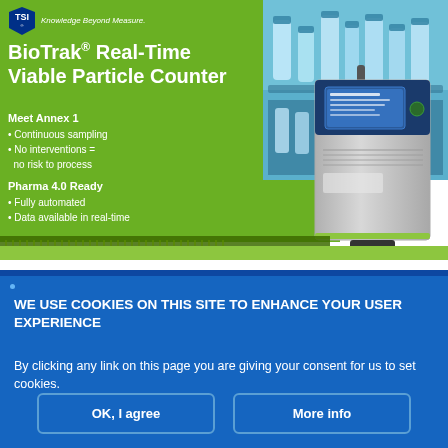[Figure (illustration): TSI BioTrak Real-Time Viable Particle Counter product advertisement. Green background with white text, lab imagery on right, stainless steel instrument device shown. Dark and light green stripes at bottom of banner.]
BioTrak® Real-Time Viable Particle Counter
Meet Annex 1
Continuous sampling
No interventions = no risk to process
Pharma 4.0 Ready
Fully automated
Data available in real-time
WE USE COOKIES ON THIS SITE TO ENHANCE YOUR USER EXPERIENCE
By clicking any link on this page you are giving your consent for us to set cookies.
OK, I agree
More info